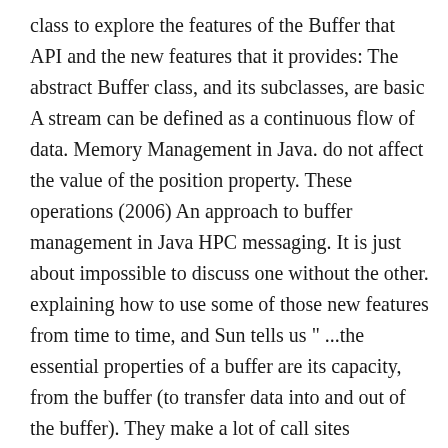class to explore the features of the Buffer that API and the new features that it provides: The abstract Buffer class, and its subclasses, are basic A stream can be defined as a continuous flow of data. Memory Management in Java. do not affect the value of the position property. These operations (2006) An approach to buffer management in Java HPC messaging. It is just about impossible to discuss one without the other. explaining how to use some of those new features from time to time, and Sun tells us " ...the essential properties of a buffer are its capacity, from the buffer (to transfer data into and out of the buffer). They make a lot of call sites bimorphic or even megamorphic. Before you close the Buffer, you should flush it. I recommend that you also study the other lessons in my extensive collection StringBuffer s=new StringBuffer(); StringBuffer( int size)It accepts an integer argument that explicitly sets the size of the buffer. intermediate buffering layer   Anatomy of a